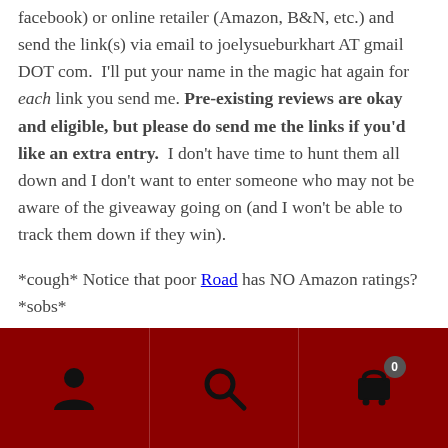facebook) or online retailer (Amazon, B&N, etc.) and send the link(s) via email to joelysueburkhart AT gmail DOT com.  I'll put your name in the magic hat again for each link you send me. Pre-existing reviews are okay and eligible, but please do send me the links if you'd like an extra entry.  I don't have time to hunt them all down and I don't want to enter someone who may not be aware of the giveaway going on (and I won't be able to track them down if they win).
*cough* Notice that poor Road has NO Amazon ratings? *sobs*
This giveaway is open to anyone on the planet, even if
[Figure (other): Dark red bottom navigation bar with three icon sections: user/person icon on left, search/magnifying glass icon in center, shopping cart icon with badge showing '0' on right]